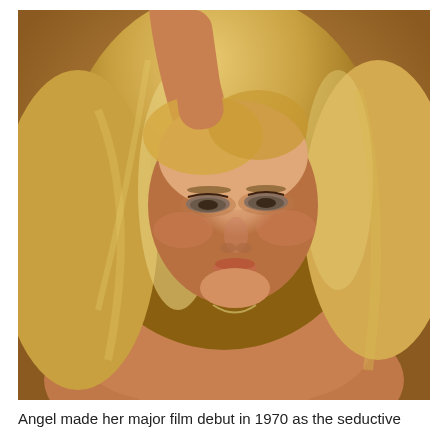[Figure (photo): Close-up portrait photograph of a blonde woman with arms raised above her head, eyes partially closed, wearing minimal clothing. Warm golden-brown tones throughout. Vintage style, likely from the 1970s.]
Angel made her major film debut in 1970 as the seductive